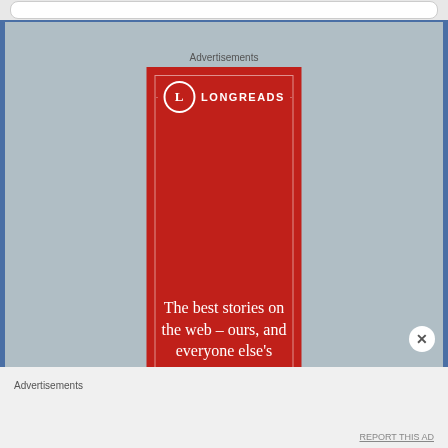Advertisements
[Figure (screenshot): Longreads advertisement banner — red background with Longreads logo at top (white circle with L, text LONGREADS), white border box, and large serif white text reading: The best stories on the web – ours, and everyone else's]
Advertisements
REPORT THIS AD